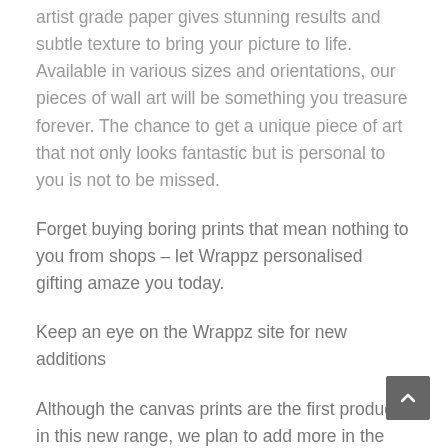artist grade paper gives stunning results and subtle texture to bring your picture to life. Available in various sizes and orientations, our pieces of wall art will be something you treasure forever. The chance to get a unique piece of art that not only looks fantastic but is personal to you is not to be missed.
Forget buying boring prints that mean nothing to you from shops – let Wrappz personalised gifting amaze you today.
Keep an eye on the Wrappz site for new additions
Although the canvas prints are the first product in this new range, we plan to add more in the coming weeks. From posters to surface prints and classic framed prints, we aim to give you lots of ways to make your home even more beautiful. Keep an eye on the website